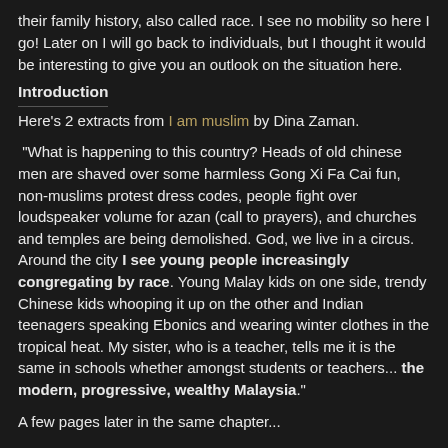their family history, also called race. I see no mobility so here I go! Later on I will go back to individuals, but I thought it would be interesting to give you an outlook on the situation here.
Introduction
Here's 2 extracts from I am muslim by Dina Zaman.
"What is happening to this country? Heads of old chinese men are shaved over some harmless Gong Xi Fa Cai fun, non-muslims protest dress codes, people fight over loudspeaker volume for azan (call to prayers), and churches and temples are being demolished. God, we live in a circus. Around the city I see young people increasingly congregating by race. Young Malay kids on one side, trendy Chinese kids whooping it up on the other and Indian teenagers speaking Ebonics and wearing winter clothes in the tropical heat. My sister, who is a teacher, tells me it is the same in schools whether amongst students or teachers... the modern, progressive, wealthy Malaysia."
A few pages later in the same chapter...